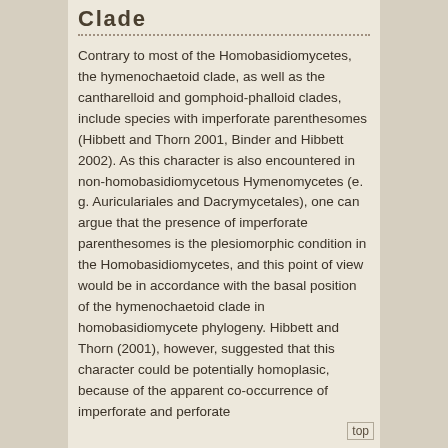Clade
Contrary to most of the Homobasidiomycetes, the hymenochaetoid clade, as well as the cantharelloid and gomphoid-phalloid clades, include species with imperforate parenthesomes (Hibbett and Thorn 2001, Binder and Hibbett 2002). As this character is also encountered in non-homobasidiomycetous Hymenomycetes (e. g. Auriculariales and Dacrymycetales), one can argue that the presence of imperforate parenthesomes is the plesiomorphic condition in the Homobasidiomycetes, and this point of view would be in accordance with the basal position of the hymenochaetoid clade in homobasidiomycete phylogeny. Hibbett and Thorn (2001), however, suggested that this character could be potentially homoplasic, because of the apparent co-occurrence of imperforate and perforate
top